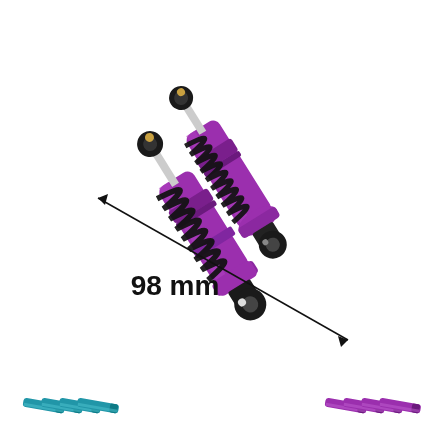[Figure (photo): Two purple and black RC car shock absorbers (coilover dampers) with coil springs, shown at an angle. A measurement arrow spans the length of the front shock labeled '98 mm'. Below the main shocks, there are two groups of small shock absorber pins/shafts: four teal/blue colored ones on the left and four purple/pink colored ones on the right.]